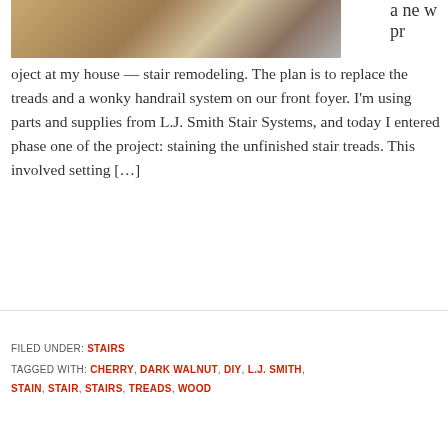[Figure (photo): Close-up photo of a wooden stair tread being worked on, showing wood grain and construction materials]
a new project at my house — stair remodeling. The plan is to replace the treads and a wonky handrail system on our front foyer. I'm using parts and supplies from L.J. Smith Stair Systems, and today I entered phase one of the project: staining the unfinished stair treads. This involved setting […]
FILED UNDER: STAIRS
TAGGED WITH: CHERRY, DARK WALNUT, DIY, L.J. SMITH, STAIN, STAIR, STAIRS, TREADS, WOOD